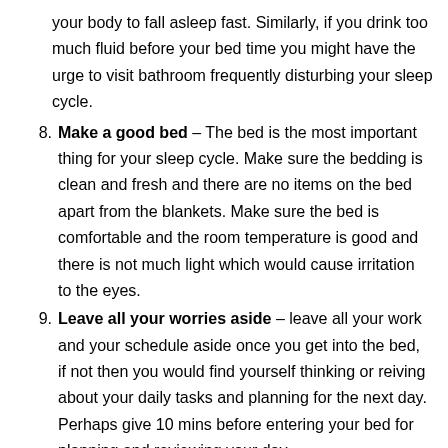your body to fall asleep fast. Similarly, if you drink too much fluid before your bed time you might have the urge to visit bathroom frequently disturbing your sleep cycle.
Make a good bed – The bed is the most important thing for your sleep cycle. Make sure the bedding is clean and fresh and there are no items on the bed apart from the blankets. Make sure the bed is comfortable and the room temperature is good and there is not much light which would cause irritation to the eyes.
Leave all your worries aside – leave all your work and your schedule aside once you get into the bed, if not then you would find yourself thinking or reiving about your daily tasks and planning for the next day. Perhaps give 10 mins before entering your bed for planning and reviewing your day.
Participate in therapy – There are many cognitive therapies which are being conducted by professionals